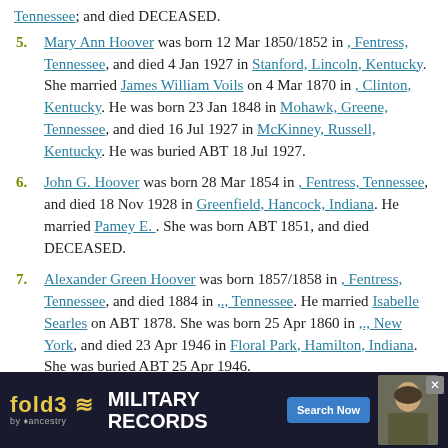Tennessee; and died DECEASED.
5. Mary Ann Hoover was born 12 Mar 1850/1852 in , Fentress, Tennessee, and died 4 Jan 1927 in Stanford, Lincoln, Kentucky. She married James William Voils on 4 Mar 1870 in , Clinton, Kentucky. He was born 23 Jan 1848 in Mohawk, Greene, Tennessee, and died 16 Jul 1927 in McKinney, Russell, Kentucky. He was buried ABT 18 Jul 1927.
6. John G. Hoover was born 28 Mar 1854 in , Fentress, Tennessee, and died 18 Nov 1928 in Greenfield, Hancock, Indiana. He married Pamey E. . She was born ABT 1851, and died DECEASED.
7. Alexander Green Hoover was born 1857/1858 in , Fentress, Tennessee, and died 1884 in ,., Tennessee. He married Isabelle Searles on ABT 1878. She was born 25 Apr 1860 in ,., New York, and died 23 Apr 1946 in Floral Park, Hamilton, Indiana. She was buried ABT 25 Apr 1946.
8. Perry Green Duncan Hoover was born 6 Jan 1858 in , Mc... ...ord, Lin... ...Sep
[Figure (infographic): Fold3 Military Records advertisement banner by Ancestry with Search Now button and soldier photo]